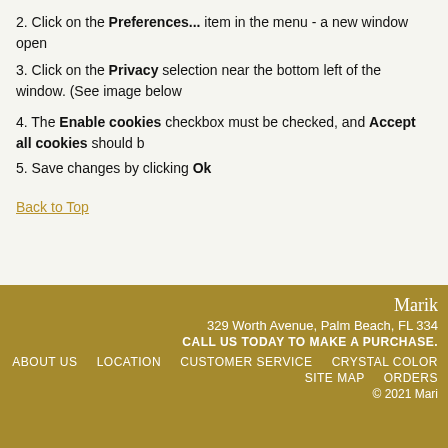2. Click on the Preferences... item in the menu - a new window open
3. Click on the Privacy selection near the bottom left of the window. (See image below
4. The Enable cookies checkbox must be checked, and Accept all cookies should b
5. Save changes by clicking Ok
Back to Top
Marik
329 Worth Avenue, Palm Beach, FL 334
CALL US TODAY TO MAKE A PURCHASE.
ABOUT US    LOCATION    CUSTOMER SERVICE    CRYSTAL COLOR    SITE MAP    ORDERS
© 2021 Mari
• Site by Monster Marketing
[profiler]
Memory usage: real: 8388608, emalloc: 8017720
| Code Profiler | Time | Cnt | Emalloc | RealMem |
| --- | --- | --- | --- | --- |